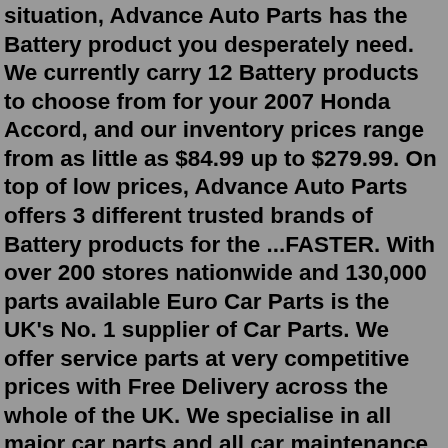situation, Advance Auto Parts has the Battery product you desperately need. We currently carry 12 Battery products to choose from for your 2007 Honda Accord, and our inventory prices range from as little as $84.99 up to $279.99. On top of low prices, Advance Auto Parts offers 3 different trusted brands of Battery products for the ...FASTER. With over 200 stores nationwide and 130,000 parts available Euro Car Parts is the UK's No. 1 supplier of Car Parts. We offer service parts at very competitive prices with Free Delivery across the whole of the UK. We specialise in all major car parts and all car maintenance essentials all available to order online.Cheap car parts for second-hand or used models, import car parts for classic, UK, Euro, American & Japanese makes or models. Car parts online. Save more buy car parts for less. Top Brands at the Best Prices plus Fast Shipping and Hassle Free Returns.May 03, 2022 · LKQ Euro Car Parts has introduced the new extensive Starline battery range, which covers the most frequently used battery capacities from 35 Ah to 225 Ah for passenger